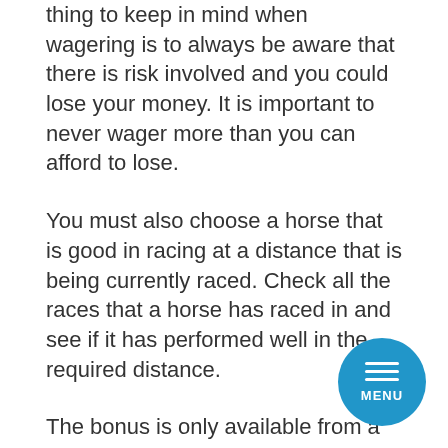thing to keep in mind when wagering is to always be aware that there is risk involved and you could lose your money. It is important to never wager more than you can afford to lose.
You must also choose a horse that is good in racing at a distance that is being currently raced. Check all the races that a horse has raced in and see if it has performed well in the required distance.
The bonus is only available from a variety of bonus offers. There are also poker bonus codes from the Internet sites. These serve as coupons, where you can get a discount or offer, simply use the code. Some sites offer bonuses progressive. This means that your bonuses are common, the more you are on the site. It's about winning you stay, it is of course exactly what the casinos with food and drink etc.